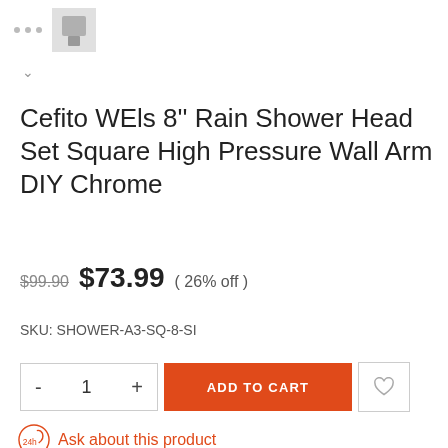[Figure (screenshot): Top navigation area with three gray dots and a small product thumbnail image]
Cefito WEls 8'' Rain Shower Head Set Square High Pressure Wall Arm DIY Chrome
$99.90 $73.99 ( 26% off )
SKU: SHOWER-A3-SQ-8-SI
- 1 + ADD TO CART ♡
Ask about this product